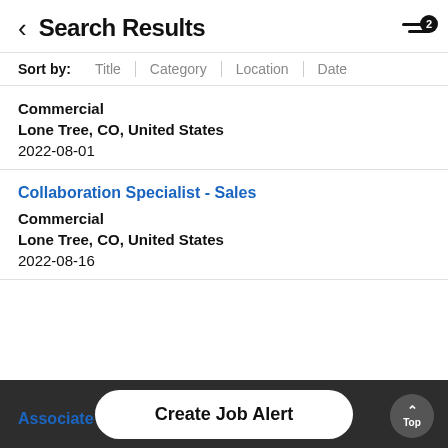Search Results
Sort by: Title | Category | Location | Date
Commercial
Lone Tree, CO, United States
2022-08-01
Collaboration Specialist - Sales
Commercial
Lone Tree, CO, United States
2022-08-16
Associate
Create Job Alert